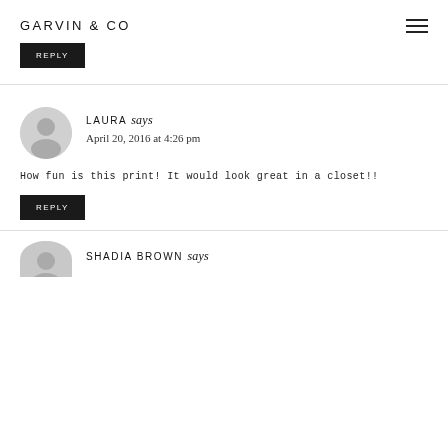GARVIN & CO
REPLY
LAURA says
April 20, 2016 at 4:26 pm
How fun is this print! It would look great in a closet!!
REPLY
SHADIA BROWN says